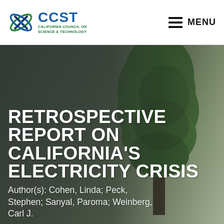CCST — California Council on Science & Technology | MENU
[Figure (logo): CCST logo with blue X/globe icon and green orbital ring, with 'CCST' in large blue text and 'California Council on Science & Technology' in green below]
RETROSPECTIVE REPORT ON CALIFORNIA'S ELECTRICITY CRISIS
Author(s): Cohen, Linda; Peck, Stephen; Sanyal, Paroma; Weinberg, Carl J.